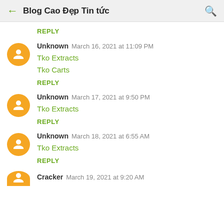Blog Cao Đẹp Tin tức
REPLY
Unknown  March 16, 2021 at 11:09 PM
Tko Extracts
Tko Carts
REPLY
Unknown  March 17, 2021 at 9:50 PM
Tko Extracts
REPLY
Unknown  March 18, 2021 at 6:55 AM
Tko Extracts
REPLY
Cracker  March 19, 2021 at 9:20 AM